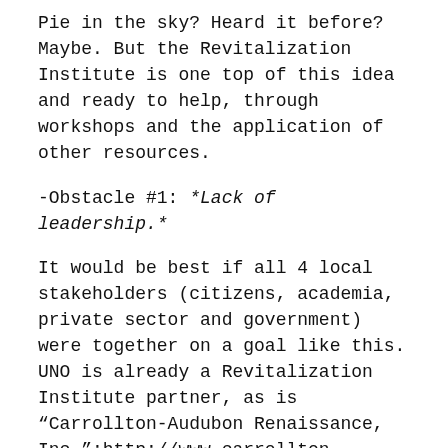Pie in the sky? Heard it before? Maybe. But the Revitalization Institute is one top of this idea and ready to help, through workshops and the application of other resources.
-Obstacle #1: *Lack of leadership.*
It would be best if all 4 local stakeholders (citizens, academia, private sector and government) were together on a goal like this. UNO is already a Revitalization Institute partner, as is “Carrollton-Audubon Renaissance, Inc.”:http://www.carrollton-audubon.org/ That’s a start.
Sadly, I don’t expect anything out of the Mayor’s